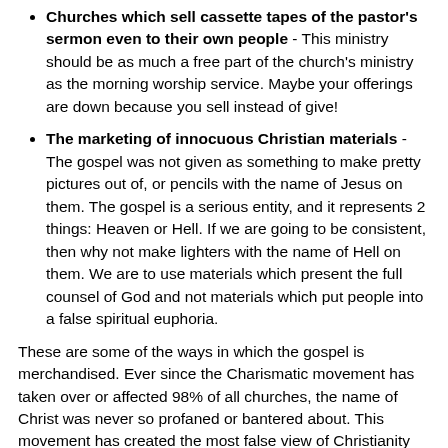Churches which sell cassette tapes of the pastor's sermon even to their own people - This ministry should be as much a free part of the church's ministry as the morning worship service. Maybe your offerings are down because you sell instead of give!
The marketing of innocuous Christian materials - The gospel was not given as something to make pretty pictures out of, or pencils with the name of Jesus on them. The gospel is a serious entity, and it represents 2 things: Heaven or Hell. If we are going to be consistent, then why not make lighters with the name of Hell on them. We are to use materials which present the full counsel of God and not materials which put people into a false spiritual euphoria.
These are some of the ways in which the gospel is merchandised. Ever since the Charismatic movement has taken over or affected 98% of all churches, the name of Christ was never so profaned or bantered about. This movement has created the most false view of Christianity